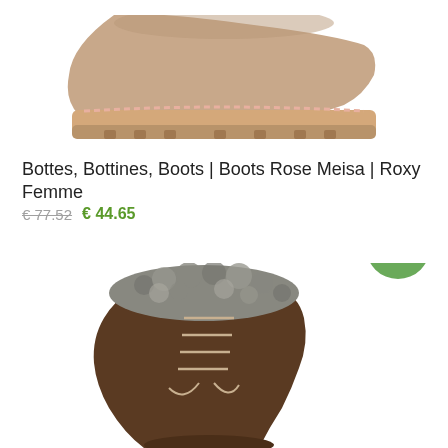[Figure (photo): Cropped top view of a beige/tan platform boot sole and lower part of boot against white background]
Bottes, Bottines, Boots | Boots Rose Meisa | Roxy Femme
€ 77.52  € 44.65
Choix des options
[Figure (photo): Brown suede winter boot with fur trim and laces, angled view, on white background, with green Sale! badge overlay]